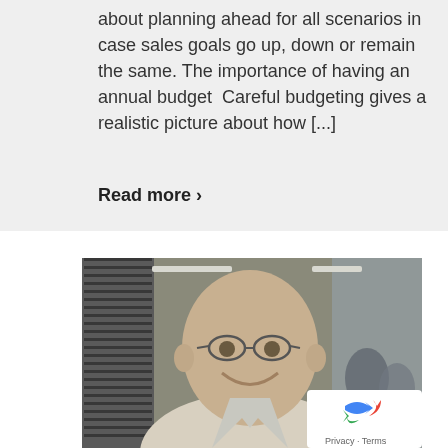about planning ahead for all scenarios in case sales goals go up, down or remain the same. The importance of having an annual budget  Careful budgeting gives a realistic picture about how [...]
Read more ›
[Figure (photo): A smiling middle-aged bald man wearing glasses and a light-colored collared shirt, photographed in what appears to be an office or conference room setting with window blinds visible in the background and other people partially visible.]